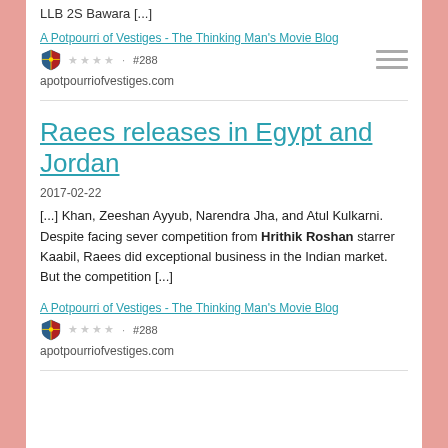LLB 2S Bawara [...]
A Potpourri of Vestiges - The Thinking Man's Movie Blog
★ ★ ★ ★ · #288
apotpourriofvestiges.com
Raees releases in Egypt and Jordan
2017-02-22
[...] Khan, Zeeshan Ayyub, Narendra Jha, and Atul Kulkarni. Despite facing sever competition from Hrithik Roshan starrer Kaabil, Raees did exceptional business in the Indian market. But the competition [...]
A Potpourri of Vestiges - The Thinking Man's Movie Blog
★ ★ ★ ★ · #288
apotpourriofvestiges.com